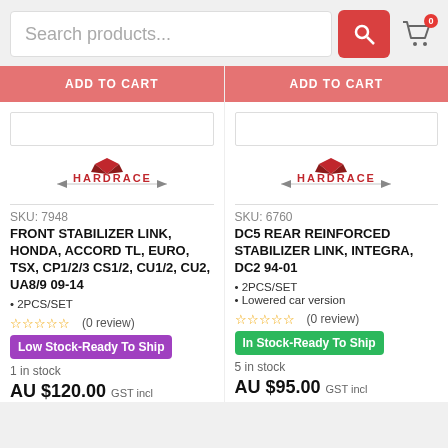Search products...
ADD TO CART
ADD TO CART
[Figure (logo): Hardrace logo left product]
[Figure (logo): Hardrace logo right product]
SKU: 7948
FRONT STABILIZER LINK, HONDA, ACCORD TL, EURO, TSX, CP1/2/3 CS1/2, CU1/2, CU2, UA8/9 09-14
2PCS/SET
☆☆☆☆☆ (0 review)
Low Stock-Ready To Ship
1 in stock
AU $120.00  GST incl
SKU: 6760
DC5 REAR REINFORCED STABILIZER LINK, INTEGRA, DC2 94-01
2PCS/SET
Lowered car version
☆☆☆☆☆ (0 review)
In Stock-Ready To Ship
5 in stock
AU $95.00  GST incl